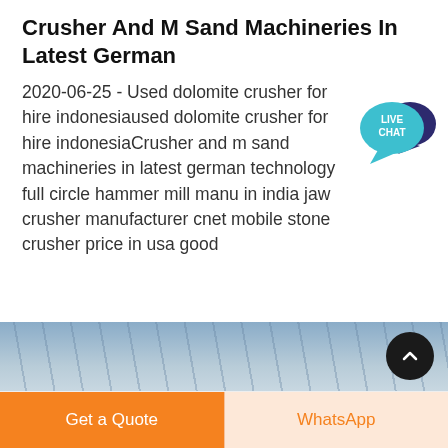Crusher And M Sand Machineries In Latest German
2020-06-25 - Used dolomite crusher for hire indonesiaused dolomite crusher for hire indonesiaCrusher and m sand machineries in latest german technology full circle hammer mill manu in india jaw crusher manufacturer cnet mobile stone crusher price in usa good
[Figure (infographic): Live Chat speech bubble badge with teal/dark blue color and text LIVE CHAT]
[Figure (other): Get price orange rounded button]
[Figure (photo): Industrial facility interior image strip showing metal ceiling structure]
[Figure (other): Scroll to top button - dark circle with upward chevron]
Get a Quote
WhatsApp